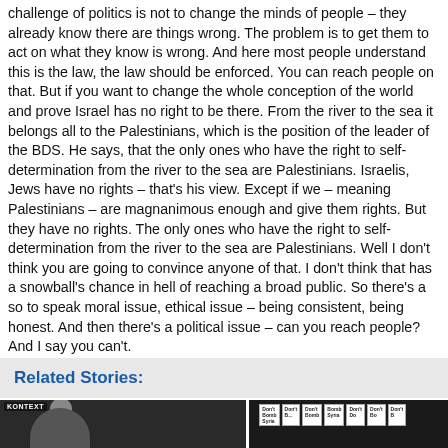challenge of politics is not to change the minds of people – they already know there are things wrong. The problem is to get them to act on what they know is wrong. And here most people understand this is the law, the law should be enforced. You can reach people on that. But if you want to change the whole conception of the world and prove Israel has no right to be there. From the river to the sea it belongs all to the Palestinians, which is the position of the leader of the BDS. He says, that the only ones who have the right to self-determination from the river to the sea are Palestinians. Israelis, Jews have no rights – that's his view. Except if we – meaning Palestinians – are magnanimous enough and give them rights. But they have no rights. The only ones who have the right to self-determination from the river to the sea are Palestinians. Well I don't think you are going to convince anyone of that. I don't think that has a snowball's chance in hell of reaching a broad public. So there's a so to speak moral issue, ethical issue – being consistent, being honest. And then there's a political issue – can you reach people? And I say you can't.
Related Stories:
[Figure (photo): Thumbnail photo of a person with brown hair against a dark background, with a small logo/watermark in the top-left corner]
[Figure (photo): Thumbnail photo of a protest with people holding many 'Don't Bomb Syria' signs, with a person visible on the right side]